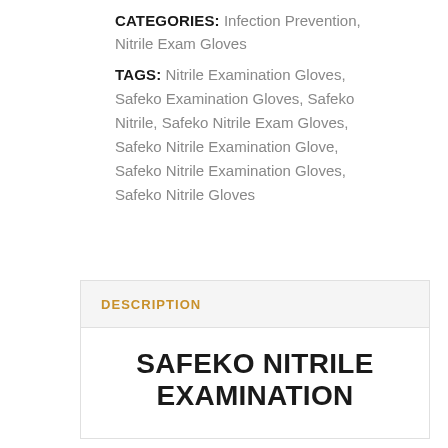CATEGORIES: Infection Prevention, Nitrile Exam Gloves
TAGS: Nitrile Examination Gloves, Safeko Examination Gloves, Safeko Nitrile, Safeko Nitrile Exam Gloves, Safeko Nitrile Examination Glove, Safeko Nitrile Examination Gloves, Safeko Nitrile Gloves
DESCRIPTION
SAFEKO NITRILE EXAMINATION